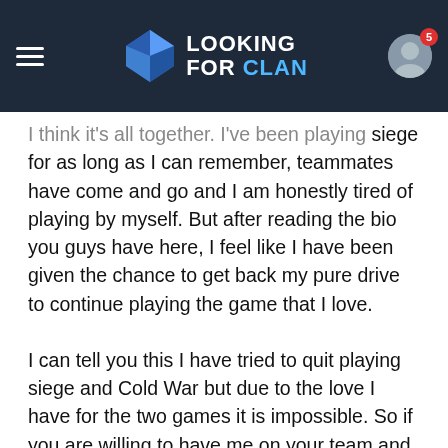Looking For Clan — navigation header with logo and user avatar with notification badge (5)
...I think it's all together. I've been playing siege for as long as I can remember, teammates have come and go and I am honestly tired of playing by myself. But after reading the bio you guys have here, I feel like I have been given the chance to get back my pure drive to continue playing the game that I love.
I can tell you this I have tried to quit playing siege and Cold War but due to the love I have for the two games it is impossible. So if you are willing to have me on your team and "hopefully" as a competitive player for siege I will